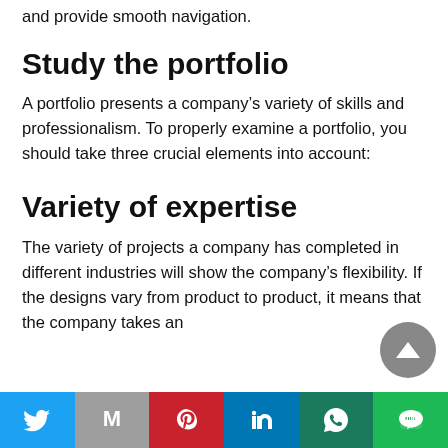and provide smooth navigation.
Study the portfolio
A portfolio presents a company's variety of skills and professionalism. To properly examine a portfolio, you should take three crucial elements into account:
Variety of expertise
The variety of projects a company has completed in different industries will show the company's flexibility. If the designs vary from product to product, it means that the company takes an
Twitter | Gmail | Pinterest | LinkedIn | WhatsApp | Line